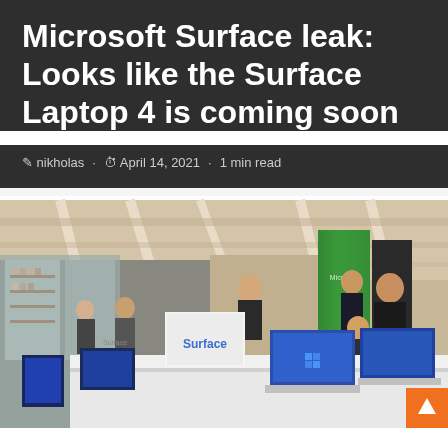Microsoft Surface leak: Looks like the Surface Laptop 4 is coming soon
nikholas · April 14, 2021 · 1 min read
[Figure (photo): Photo of a Microsoft Surface store display with laptops and tablets on a white display table. Store staff and customers are visible. A green Microsoft store column is visible in the background. Surface branded display stands are on the table.]